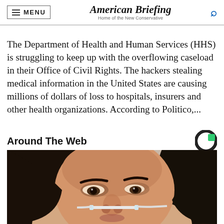American Briefing — Home of the New Conservative
The Department of Health and Human Services (HHS) is struggling to keep up with the overflowing caseload in their Office of Civil Rights. The hackers stealing medical information in the United States are causing millions of dollars of loss to hospitals, insurers and other health organizations. According to Politico,...
Around The Web
[Figure (photo): Close-up portrait of a dark-haired woman with a nasal cannula or similar medical tube near her nose]